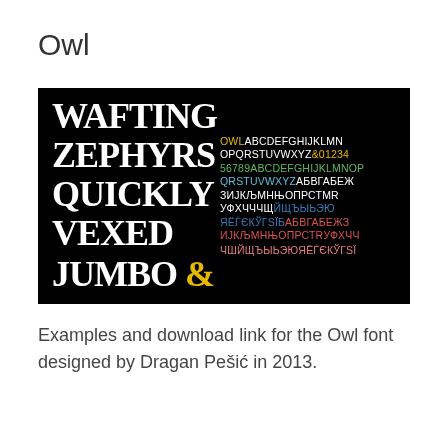Owl
[Figure (illustration): Font preview image for 'Owl' typeface on black background. Left side shows 'WAFTING ZEPHYRS QUICKLY VEXED JUMBO &' in large white bold letters with yellow ampersand. Right side shows alphabet and Cyrillic character sets in multiple colors: yellow/white, green, blue/white, white, blue, red, and pink rows.]
Examples and download link for the Owl font designed by Dragan Pešić in 2013.